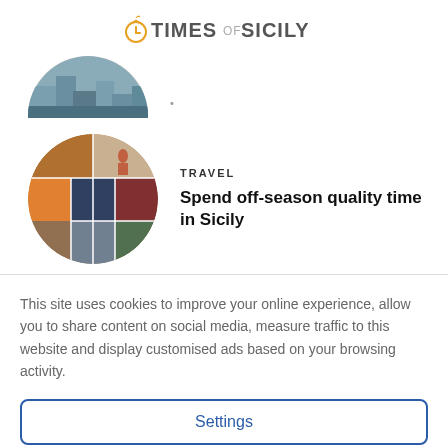TIMES OF SICILY
[Figure (photo): Circular cropped photo of cityscape, partially visible as top half circle]
[Figure (photo): Circular collage of travel photos of Sicily]
TRAVEL
Spend off-season quality time in Sicily
This site uses cookies to improve your online experience, allow you to share content on social media, measure traffic to this website and display customised ads based on your browsing activity.
Settings
Accept